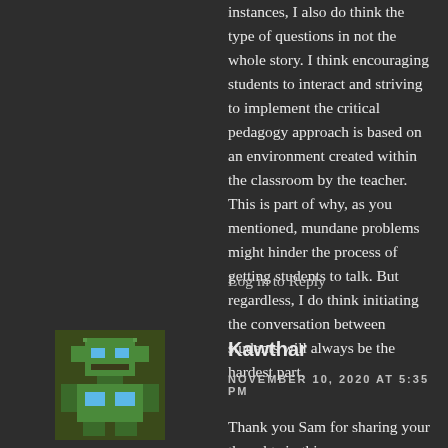instances, I also do think the type of questions in not the whole story. I think encouraging students to interact and striving to implement the critical pedagogy approach is based on an environment created within the classroom by the teacher. This is part of why, as you mentioned, mundane problems might hinder the process of getting students to talk. But regardless, I do think initiating the conversation between students will always be the hardest part.
Log in to Reply
[Figure (illustration): Pixel art avatar of a robot/alien figure in green and blue colors on a dark green background]
Kawthar
NOVEMBER 10, 2020 AT 5:35 PM
Thank you Sam for sharing your thoughts in this